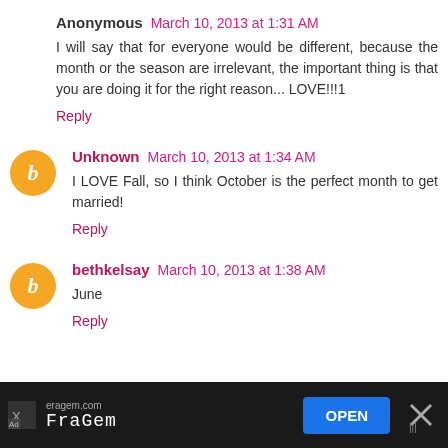Anonymous March 10, 2013 at 1:31 AM
I will say that for everyone would be different, because the month or the season are irrelevant, the important thing is that you are doing it for the right reason... LOVE!!!1
Reply
Unknown March 10, 2013 at 1:34 AM
I LOVE Fall, so I think October is the perfect month to get married!
Reply
bethkelsay March 10, 2013 at 1:38 AM
June
Reply